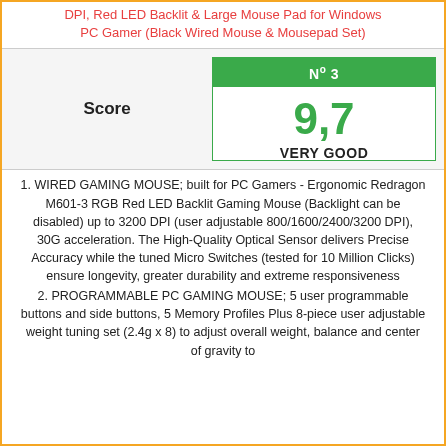DPI, Red LED Backlit & Large Mouse Pad for Windows PC Gamer (Black Wired Mouse & Mousepad Set)
| Score | Nº 3 / 9,7 / VERY GOOD |
| --- | --- |
1. WIRED GAMING MOUSE; built for PC Gamers - Ergonomic Redragon M601-3 RGB Red LED Backlit Gaming Mouse (Backlight can be disabled) up to 3200 DPI (user adjustable 800/1600/2400/3200 DPI), 30G acceleration. The High-Quality Optical Sensor delivers Precise Accuracy while the tuned Micro Switches (tested for 10 Million Clicks) ensure longevity, greater durability and extreme responsiveness
2. PROGRAMMABLE PC GAMING MOUSE; 5 user programmable buttons and side buttons, 5 Memory Profiles Plus 8-piece user adjustable weight tuning set (2.4g x 8) to adjust overall weight, balance and center of gravity to